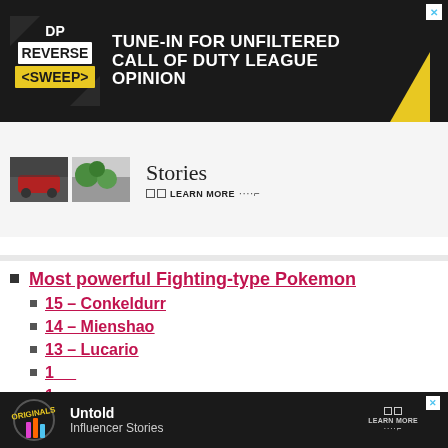[Figure (screenshot): Top advertisement banner for 'Reverse Sweep' show with dark background, logo on left, text 'TUNE-IN FOR UNFILTERED CALL OF DUTY LEAGUE OPINION' in white bold uppercase, yellow diagonal slash accent, close X button top right]
[Figure (screenshot): Middle ad/content section with light gray background showing two thumbnail images (red car, green plants), text 'Stories' in serif font, 'LEARN MORE' button with small squares icon]
Most powerful Fighting-type Pokemon
15 – Conkeldurr
14 – Mienshao
13 – Lucario
[Figure (screenshot): Bottom advertisement banner with dark background, 'Originals' logo on left, text 'Untold Influencer Stories', 'LEARN MORE' with squares icon, close X button]